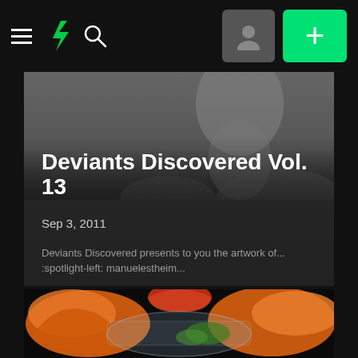DeviantArt navigation bar with hamburger menu, logo, search icon, avatar button, and plus button
[Figure (screenshot): Hero article card showing a black-and-white portrait photo of a person in profile, with overlay text for article title, date, and excerpt]
Deviants Discovered Vol. 13
Sep 3, 2011
Deviants Discovered presents to you the artwork of... :spotlight-left: manuelestheim...
[Figure (photo): Close-up photo of shrimp/prawns with colorful food items in a glass bowl against a dark background]